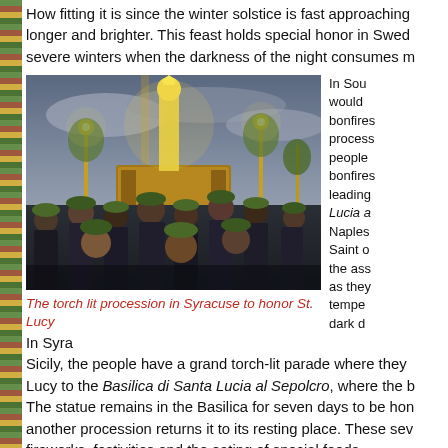How fitting it is since the winter solstice is fast approaching, longer and brighter. This feast holds special honor in Swed severe winters when the darkness of the night consumes m
[Figure (photo): A torch-lit procession in Syracuse honoring St. Lucy. A golden statue of Saint Lucy is carried by a large crowd of people wearing green hats, with ornate candelabra and decorations visible against a dramatic cloudy sky.]
In Sou would bonfires process people bonfires leading Lucia a Naples Saint o the ass as they tempe dark d
The torch lit procession in Syracuse to honor St. Lucy
In Syria, Sicily, the people have a grand torch-lit parade where they Lucy to the Basilica di Santa Lucia al Sepolcro, where the b The statue remains in the Basilica for seven days to be hon another procession returns it to its resting place. These sev fireworks, festivities and the eating of special foods.